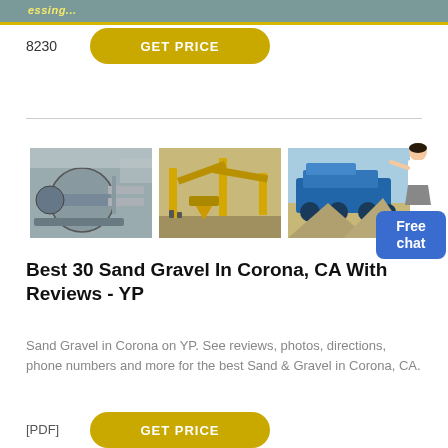...essing...
8230
GET PRICE
[Figure (photo): Row of three industrial mining/quarrying equipment photos: a large ball mill, a yellow mobile crushing plant, and a blue mobile crusher on a sandy terrain.]
[Figure (illustration): Chat widget with a woman figure and blue Free chat button]
Best 30 Sand Gravel In Corona, CA With Reviews - YP
Sand Gravel in Corona on YP. See reviews, photos, directions, phone numbers and more for the best Sand & Gravel in Corona, CA.
[PDF]
GET PRICE